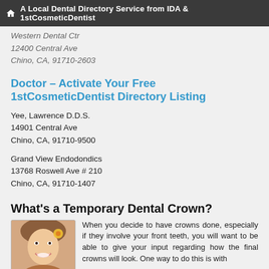A Local Dental Directory Service from IDA & 1stCosmeticDentist
Western Dental Ctr
12400 Central Ave
Chino, CA, 91710-2603
Doctor - Activate Your Free 1stCosmeticDentist Directory Listing
Yee, Lawrence D.D.S.
14901 Central Ave
Chino, CA, 91710-9500
Grand View Endodondics
13768 Roswell Ave # 210
Chino, CA, 91710-1407
What's a Temporary Dental Crown?
[Figure (photo): Photo of a smiling woman with flower in hair, dental advertisement image]
When you decide to have crowns done, especially if they involve your front teeth, you will want to be able to give your input regarding how the final crowns will look. One way to do this is with